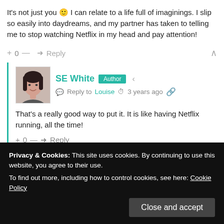It's not just you 🙂 I can relate to a life full of imaginings. I slip so easily into daydreams, and my partner has taken to telling me to stop watching Netflix in my head and pay attention!
+ 0 — ➜ Reply ∧
SE White  Author  < Reply to Louise  🕐 3 years ago
That's a really good way to put it. It is like having Netflix running, all the time!
+ 0 — ➜ Reply
Privacy & Cookies: This site uses cookies. By continuing to use this website, you agree to their use.
To find out more, including how to control cookies, see here: Cookie Policy
Close and accept